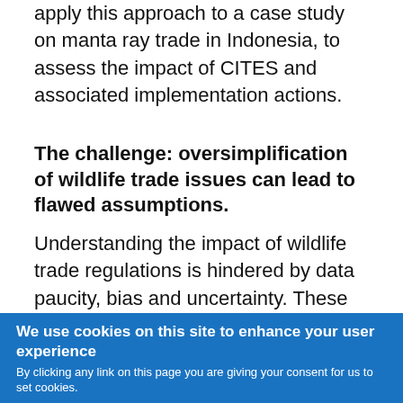apply this approach to a case study on manta ray trade in Indonesia, to assess the impact of CITES and associated implementation actions.
The challenge: oversimplification of wildlife trade issues can lead to flawed assumptions.
Understanding the impact of wildlife trade regulations is hindered by data paucity, bias and uncertainty. These issues need to be explicitly addressed in impact assessments. Failure to do so can lead to flawed assumptions, which is particularly problematic
We use cookies on this site to enhance your user experience
By clicking any link on this page you are giving your consent for us to set cookies.